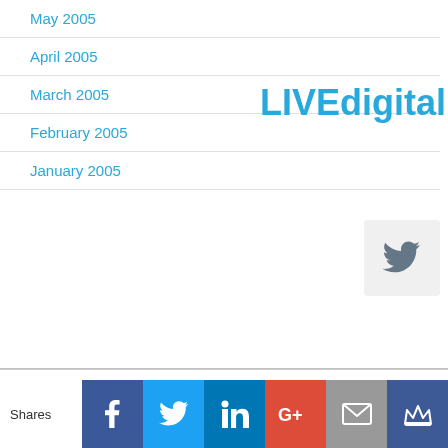May 2005
April 2005
LIVEdigitally
March 2005
February 2005
January 2005
December 2004
November 2004
October 2004
September 2004
CATEGORIES
Convergence (81)
Gadgets (144)
Shares | Facebook | Twitter | LinkedIn | Google+ | Email | Crown